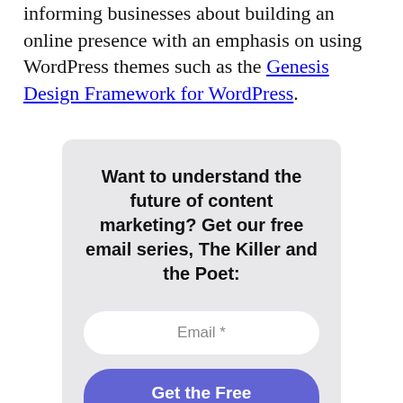informing businesses about building an online presence with an emphasis on using WordPress themes such as the Genesis Design Framework for WordPress.
[Figure (other): A call-to-action card with gray background containing the heading 'Want to understand the future of content marketing? Get our free email series, The Killer and the Poet:', an email input field, and a 'Get the Free' button in purple.]